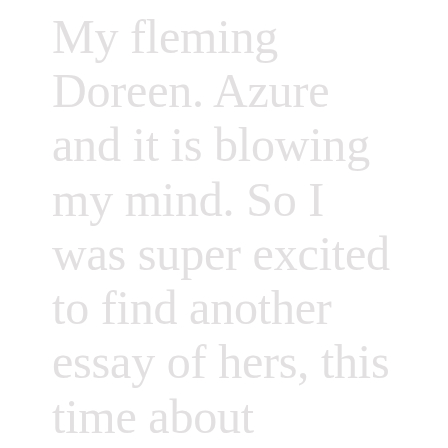My fleming Doreen. Azure and it is blowing my mind. So I was super excited to find another essay of hers, this time about language reclamation, colonial reminder and love. I get to read everything she writes.
Emily Orley's
reading list also caught... Burgess...